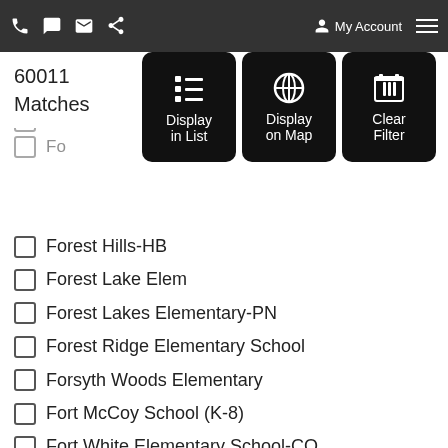My Account
60011 Matches
Forest Hills-HB
Forest Lake Elem
Forest Lakes Elementary-PN
Forest Ridge Elementary School
Forsyth Woods Elementary
Fort McCoy School (K-8)
Fort White Elementary School-CO
Foster-HB
Four Corner Elem
Fox Hollow Elementary-PO
Frances Wakeland Elementary